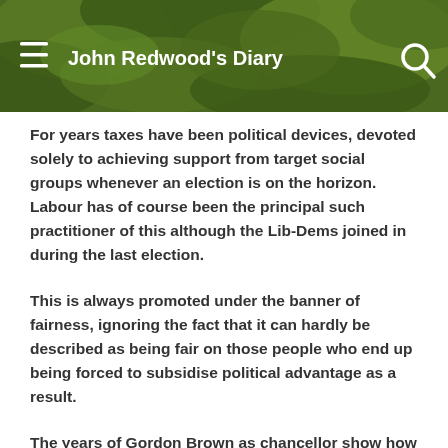John Redwood's Diary
For years taxes have been political devices, devoted solely to achieving support from target social groups whenever an election is on the horizon. Labour has of course been the principal such practitioner of this although the Lib-Dems joined in during the last election.
This is always promoted under the banner of fairness, ignoring the fact that it can hardly be described as being fair on those people who end up being forced to subsidise political advantage as a result.
The years of Gordon Brown as chancellor show how important it has become to put a stop to this and only a flat tax can do so. Apart from the likely prospect of higher revenues, the cost